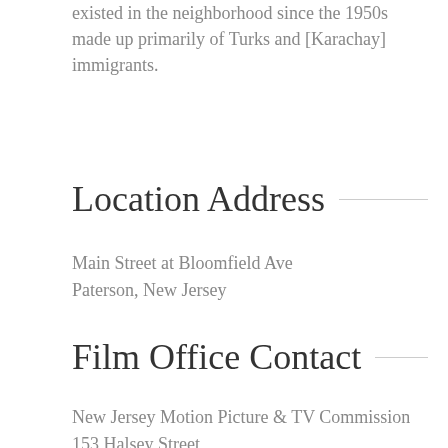existed in the neighborhood since the 1950s made up primarily of Turks and [Karachay] immigrants.
Location Address
Main Street at Bloomfield Ave
Paterson, New Jersey
Film Office Contact
New Jersey Motion Picture & TV Commission
153 Halsey Street
5th Floor
Newark, NJ 07101
Contact Phone: (973) 648-6279